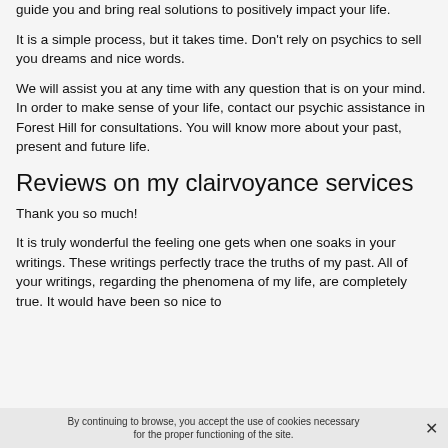guide you and bring real solutions to positively impact your life.
It is a simple process, but it takes time. Don't rely on psychics to sell you dreams and nice words.
We will assist you at any time with any question that is on your mind. In order to make sense of your life, contact our psychic assistance in Forest Hill for consultations. You will know more about your past, present and future life.
Reviews on my clairvoyance services
Thank you so much!
It is truly wonderful the feeling one gets when one soaks in your writings. These writings perfectly trace the truths of my past. All of your writings, regarding the phenomena of my life, are completely true. It would have been so nice to
By continuing to browse, you accept the use of cookies necessary for the proper functioning of the site.